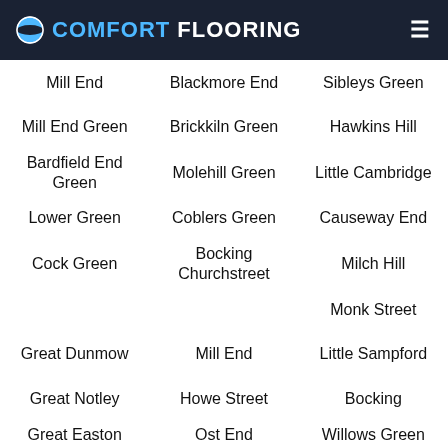COMFORT FLOORING
Mill End
Blackmore End
Sibleys Green
Mill End Green
Brickkiln Green
Hawkins Hill
Bardfield End Green
Molehill Green
Little Cambridge
Lower Green
Coblers Green
Causeway End
Cock Green
Bocking Churchstreet
Milch Hill
Monk Street
Great Dunmow
Mill End
Little Sampford
Great Notley
Howe Street
Bocking
Great Easton
Ost End
Willows Green